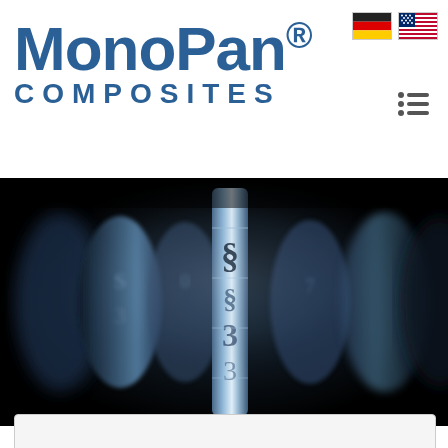MonoPan® COMPOSITES
[Figure (logo): German and US flag icons for language selection]
[Figure (other): Hamburger/menu icon with three lines]
[Figure (photo): Close-up macro photo of metallic combination lock dials showing symbols and numbers, blue-toned monochrome, with section symbol (§) prominently in focus in center]